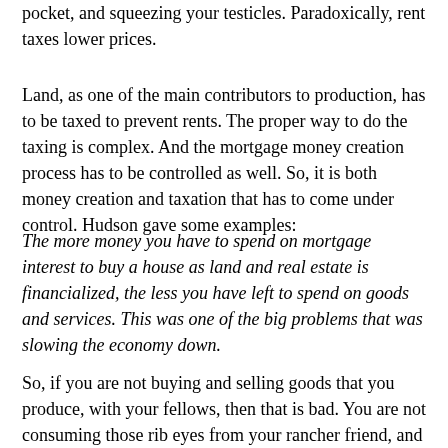pocket, and squeezing your testicles. Paradoxically, rent taxes lower prices.
Land, as one of the main contributors to production, has to be taxed to prevent rents. The proper way to do the taxing is complex. And the mortgage money creation process has to be controlled as well. So, it is both money creation and taxation that has to come under control. Hudson gave some examples:
The more money you have to spend on mortgage interest to buy a house as land and real estate is financialized, the less you have left to spend on goods and services. This was one of the big problems that was slowing the economy down.
So, if you are not buying and selling goods that you produce, with your fellows, then that is bad. You are not consuming those rib eyes from your rancher friend, and he is not enjoying the boats you created.
The invisible hand is siphoning away your money, to pay the mortgage. The banker could give a shit how big your mortgage